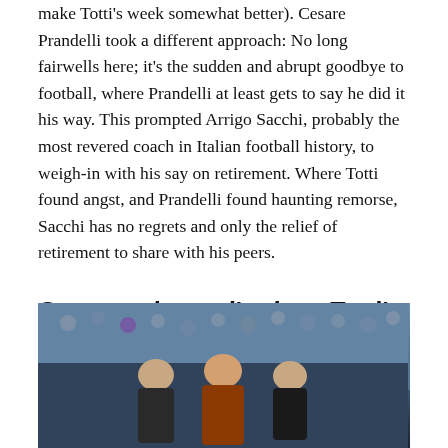make Totti's week somewhat better). Cesare Prandelli took a different approach: No long fairwells here; it's the sudden and abrupt goodbye to football, where Prandelli at least gets to say he did it his way. This prompted Arrigo Sacchi, probably the most revered coach in Italian football history, to weigh-in with his say on retirement. Where Totti found angst, and Prandelli found haunting remorse, Sacchi has no regrets and only the relief of retirement to share with his peers.
Speravo de mori' prima: Totti's Long Kiss Goodbye is a Hit
[Figure (photo): Photo of three men on a football pitch, with a crowd visible in the background. The central figure appears to be wearing a reddish-orange top. The figures appear to be in conversation.]